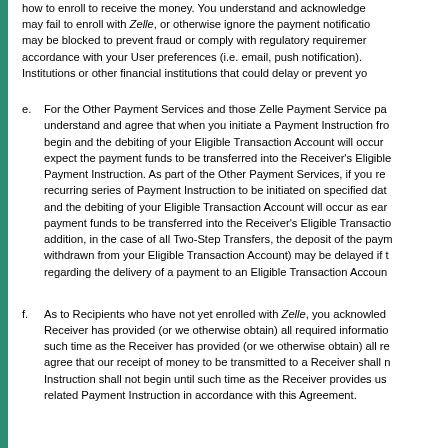how to enroll to receive the money. You understand and acknowledge may fail to enroll with Zelle, or otherwise ignore the payment notification may be blocked to prevent fraud or comply with regulatory requirements in accordance with your User preferences (i.e. email, push notification). Institutions or other financial institutions that could delay or prevent yo
e. For the Other Payment Services and those Zelle Payment Service pa understand and agree that when you initiate a Payment Instruction fro begin and the debiting of your Eligible Transaction Account will occur expect the payment funds to be transferred into the Receiver's Eligible Payment Instruction. As part of the Other Payment Services, if you re recurring series of Payment Instruction to be initiated on specified dat and the debiting of your Eligible Transaction Account will occur as ear payment funds to be transferred into the Receiver's Eligible Transactio addition, in the case of all Two-Step Transfers, the deposit of the paym withdrawn from your Eligible Transaction Account) may be delayed if t regarding the delivery of a payment to an Eligible Transaction Accoun
f. As to Recipients who have not yet enrolled with Zelle, you acknowled Receiver has provided (or we otherwise obtain) all required informatio such time as the Receiver has provided (or we otherwise obtain) all re agree that our receipt of money to be transmitted to a Receiver shall n Instruction shall not begin until such time as the Receiver provides us related Payment Instruction in accordance with this Agreement.